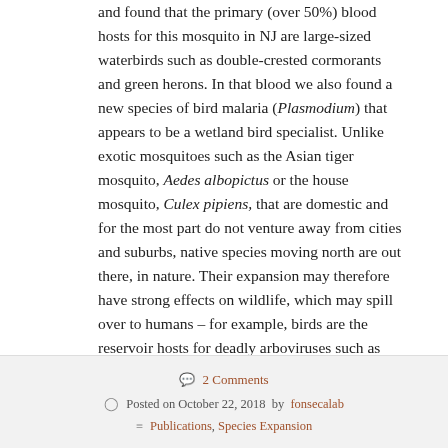and found that the primary (over 50%) blood hosts for this mosquito in NJ are large-sized waterbirds such as double-crested cormorants and green herons. In that blood we also found a new species of bird malaria (Plasmodium) that appears to be a wetland bird specialist. Unlike exotic mosquitoes such as the Asian tiger mosquito, Aedes albopictus or the house mosquito, Culex pipiens, that are domestic and for the most part do not venture away from cities and suburbs, native species moving north are out there, in nature. Their expansion may therefore have strong effects on wildlife, which may spill over to humans – for example, birds are the reservoir hosts for deadly arboviruses such as Eastern equine encephalitis virus (EEEV). Cx. erraticus does bite humans also.
2 Comments | Posted on October 22, 2018 by fonsecalab | Publications, Species Expansion